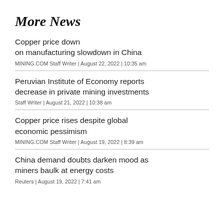More News
Copper price down on manufacturing slowdown in China
MINING.COM Staff Writer | August 22, 2022 | 10:35 am
Peruvian Institute of Economy reports decrease in private mining investments
Staff Writer | August 21, 2022 | 10:38 am
Copper price rises despite global economic pessimism
MINING.COM Staff Writer | August 19, 2022 | 8:39 am
China demand doubts darken mood as miners baulk at energy costs
Reuters | August 19, 2022 | 7:41 am